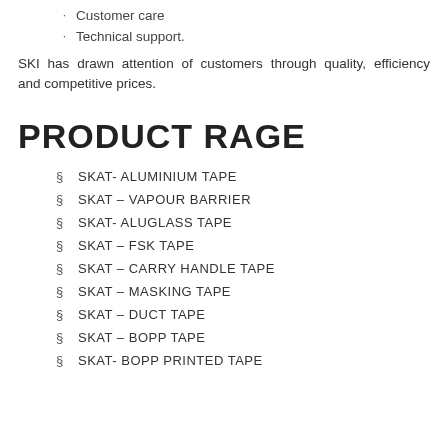Customer care
Technical support.
SKI has drawn attention of customers through quality, efficiency and competitive prices.
PRODUCT RAGE
§  SKAT- ALUMINIUM TAPE
§  SKAT – VAPOUR BARRIER
§  SKAT- ALUGLASS TAPE
§  SKAT – FSK TAPE
§  SKAT – CARRY HANDLE TAPE
§  SKAT – MASKING TAPE
§  SKAT – DUCT TAPE
§  SKAT – BOPP TAPE
§  SKAT- BOPP PRINTED TAPE